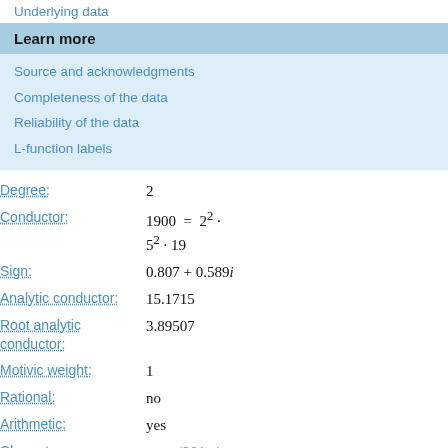Underlying data
Learn more
Source and acknowledgments
Completeness of the data
Reliability of the data
L-function labels
| Property | Value |
| --- | --- |
| Degree: | 2 |
| Conductor: | 1900 = 2² · 5² · 19 |
| Sign: | 0.807 + 0.589i |
| Analytic conductor: | 15.1715 |
| Root analytic conductor: | 3.89507 |
| Motivic weight: | 1 |
| Rational: | no |
| Arithmetic: | yes |
| Character: | χ1900(201, ·) |
| Primitive: | yes |